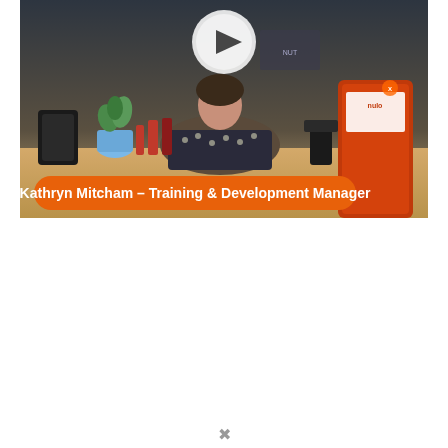[Figure (screenshot): Video thumbnail showing a woman sitting behind a desk with pet food products. A play button icon is visible at the top center. An orange pill-shaped label at the bottom reads 'Kathryn Mitcham – Training & Development Manager'.]